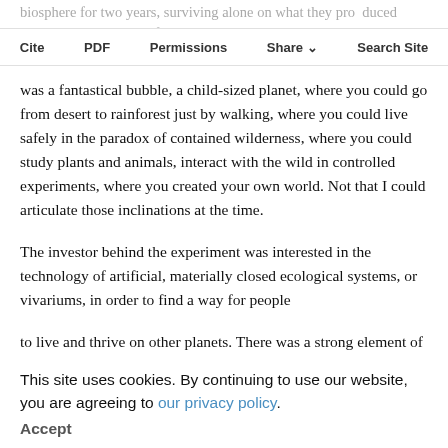biosphere for two years, surviving alone on what they produced there, several months of pa...
Cite  PDF  Permissions  Share  Search Site
was a fantastical bubble, a child-sized planet, where you could go from desert to rainforest just by walking, where you could live safely in the paradox of contained wilderness, where you could study plants and animals, interact with the wild in controlled experiments, where you created your own world. Not that I could articulate those inclinations at the time.
The investor behind the experiment was interested in the technology of artificial, materially closed ecological systems, or vivariums, in order to find a way for people to live and thrive on other planets. There was a strong element of whimsy, even fantasy, along the adults involved, several of whom were not academic scientists, but came from a theater background. Many
This site uses cookies. By continuing to use our website, you are agreeing to our privacy policy.
Accept